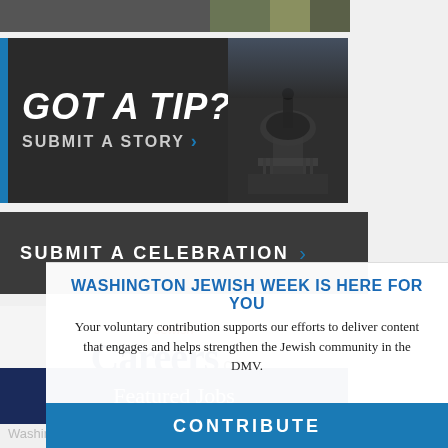[Figure (screenshot): Top strip with dark background and an image on the right side]
[Figure (infographic): GOT A TIP? SUBMIT A STORY banner with blue accent bar and capitol building silhouette on dark background]
[Figure (infographic): SUBMIT A CELEBRATION banner on dark gray background with blue chevron arrow]
[Figure (logo): JewishCareers.com logo with Jewish in red italic and Careers in dark blue serif font]
[Figure (infographic): Featured Jobs navy blue bar]
WASHINGTON JEWISH WEEK IS HERE FOR YOU
Your voluntary contribution supports our efforts to deliver content that engages and helps strengthen the Jewish community in the DMV.
[Figure (infographic): CONTRIBUTE blue button/banner]